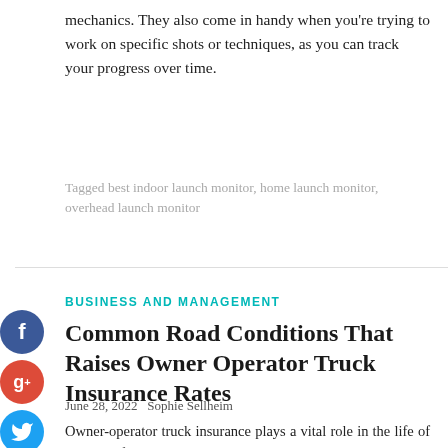mechanics. They also come in handy when you're trying to work on specific shots or techniques, as you can track your progress over time.
Tagged best indoor launch monitor, home launch monitor, overhead launch monitor
BUSINESS AND MANAGEMENT
Common Road Conditions That Raises Owner Operator Truck Insurance Rates
June 28, 2022  Sophie Sellheim
Owner-operator truck insurance plays a vital role in the life of owners of trucking businesses. There are several companies from where you can get this policy. To get the